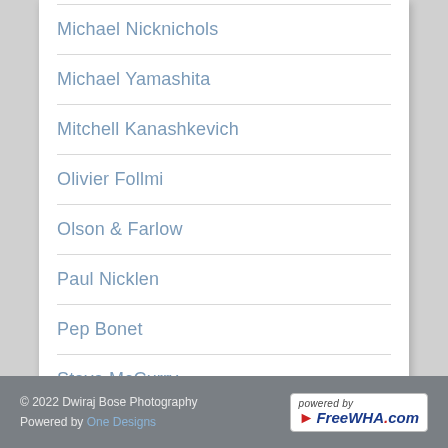Michael Nicknichols
Michael Yamashita
Mitchell Kanashkevich
Olivier Follmi
Olson & Farlow
Paul Nicklen
Pep Bonet
Steve McCurry
Tewfic El-Sawy
© 2022 Dwiraj Bose Photography
Powered by One Designs